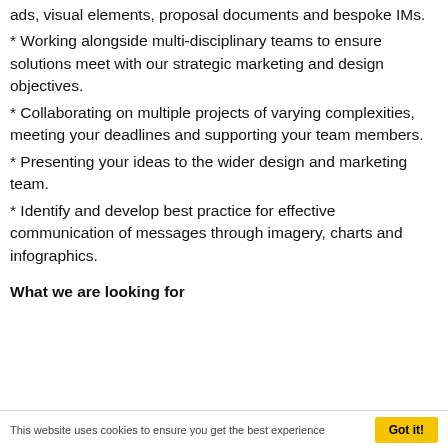ads, visual elements, proposal documents and bespoke IMs.
* Working alongside multi-disciplinary teams to ensure solutions meet with our strategic marketing and design objectives.
* Collaborating on multiple projects of varying complexities, meeting your deadlines and supporting your team members.
* Presenting your ideas to the wider design and marketing team.
* Identify and develop best practice for effective communication of messages through imagery, charts and infographics.
What we are looking for
This website uses cookies to ensure you get the best experience